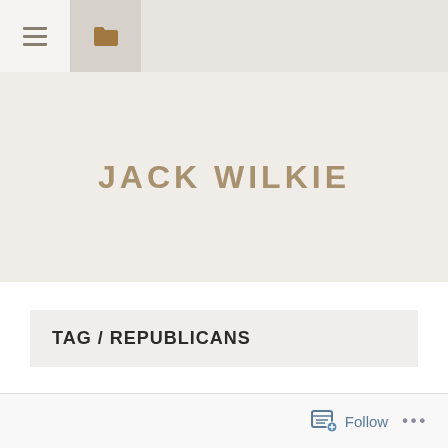Navigation bar with menu and folder icons
JACK WILKIE
TAG / REPUBLICANS
Follow ...